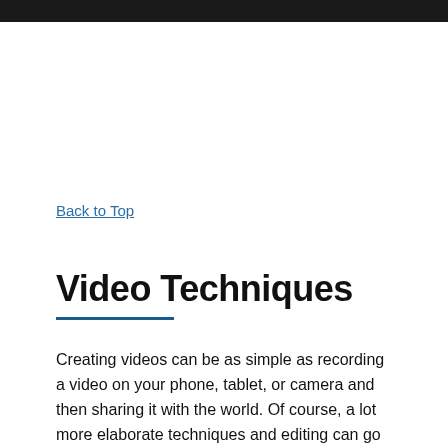Back to Top
Video Techniques
Creating videos can be as simple as recording a video on your phone, tablet, or camera and then sharing it with the world. Of course, a lot more elaborate techniques and editing can go into video creation as well.
Below are some examples of different video techniques used with students.
Back to Top